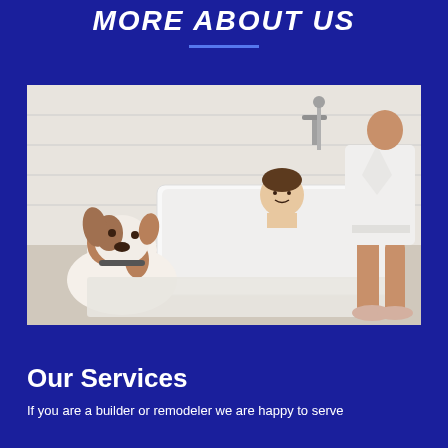More About Us
[Figure (photo): A bathroom scene with a dog (white and brown bulldog type) sitting on a bath mat next to a white freestanding bathtub, a young boy sitting in the bathtub smiling, and a woman in a white bathrobe stepping out, wearing fluffy pink slippers.]
Our Services
If you are a builder or remodeler we are happy to serve